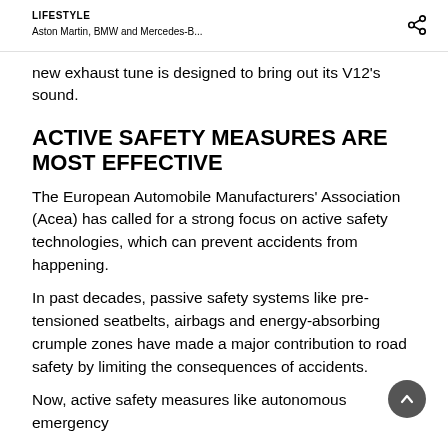LIFESTYLE
Aston Martin, BMW and Mercedes-B...
new exhaust tune is designed to bring out its V12's sound.
ACTIVE SAFETY MEASURES ARE MOST EFFECTIVE
The European Automobile Manufacturers' Association (Acea) has called for a strong focus on active safety technologies, which can prevent accidents from happening.
In past decades, passive safety systems like pre-tensioned seatbelts, airbags and energy-absorbing crumple zones have made a major contribution to road safety by limiting the consequences of accidents.
Now, active safety measures like autonomous emergency